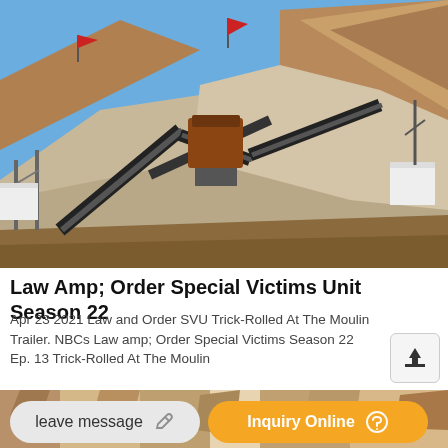[Figure (photo): Outdoor quarry or mining site with conveyor belts, crushers, and machinery on a sandy hillside under a clear blue sky. Red flags visible on poles.]
Law Amp; Order Special Victims Unit Season 22
Apr 23 2021 Law and Order SVU Trick-Rolled At The Moulin Trailer. NBCs Law amp; Order Special Victims Season 22 Ep. 13 Trick-Rolled At The Moulin
[Figure (photo): Partial view of rocky/stone surface, cropped at bottom of page.]
leave message
Inquiry Online